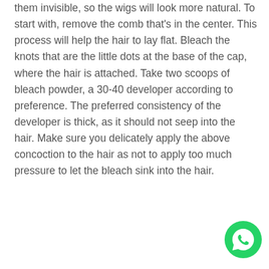them invisible, so the wigs will look more natural. To start with, remove the comb that's in the center. This process will help the hair to lay flat. Bleach the knots that are the little dots at the base of the cap, where the hair is attached. Take two scoops of bleach powder, a 30-40 developer according to preference. The preferred consistency of the developer is thick, as it should not seep into the hair. Make sure you delicately apply the above concoction to the hair as not to apply too much pressure to let the bleach sink into the hair.
[Figure (photo): Photo of a woman wearing a dark straight wig with bangs, in a kitchen setting. A WhatsApp button icon appears in the bottom right corner.]